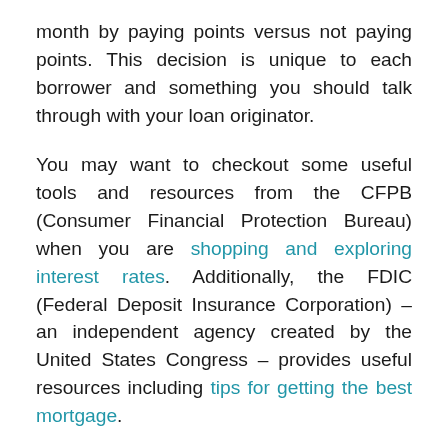month by paying points versus not paying points. This decision is unique to each borrower and something you should talk through with your loan originator.
You may want to checkout some useful tools and resources from the CFPB (Consumer Financial Protection Bureau) when you are shopping and exploring interest rates. Additionally, the FDIC (Federal Deposit Insurance Corporation) – an independent agency created by the United States Congress – provides useful resources including tips for getting the best mortgage.